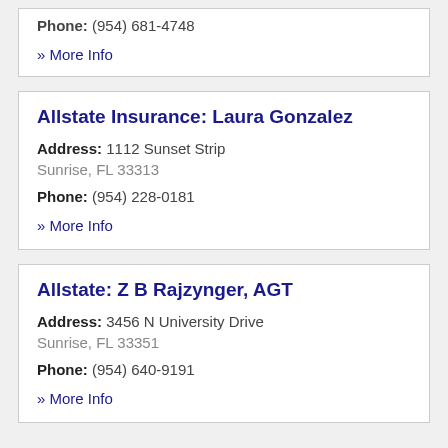Phone: (954) 681-4748
» More Info
Allstate Insurance: Laura Gonzalez
Address: 1112 Sunset Strip
Sunrise, FL 33313
Phone: (954) 228-0181
» More Info
Allstate: Z B Rajzynger, AGT
Address: 3456 N University Drive
Sunrise, FL 33351
Phone: (954) 640-9191
» More Info